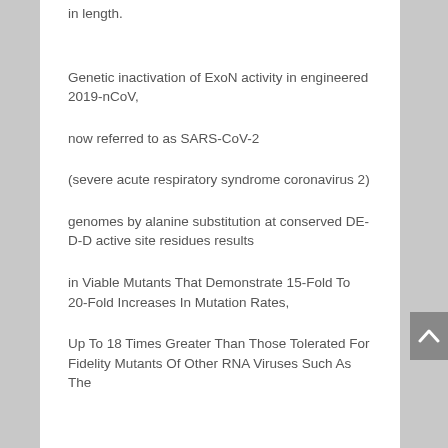in length.
Genetic inactivation of ExoN activity in engineered 2019-nCoV,
now referred to as SARS-CoV-2
(severe acute respiratory syndrome coronavirus 2)
genomes by alanine substitution at conserved DE-D-D active site residues results
in Viable Mutants That Demonstrate 15-Fold To 20-Fold Increases In Mutation Rates,
Up To 18 Times Greater Than Those Tolerated For Fidelity Mutants Of Other RNA Viruses Such As The